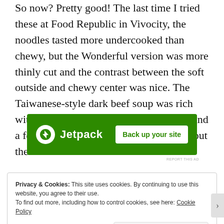So now? Pretty good! The last time I tried these at Food Republic in Vivocity, the noodles tasted more undercooked than chewy, but the Wonderful version was more thinly cut and the contrast between the soft outside and chewy center was nice. The Taiwanese-style dark beef soup was rich with star anise, the beef slices were soft and a few token pieces of bok choy rounded out the bowl.
[Figure (other): Jetpack advertisement banner with green background, lightning bolt logo, 'Jetpack' text, and 'Back up your site' white button]
REPORT THIS AD
Privacy & Cookies: This site uses cookies. By continuing to use this website, you agree to their use.
To find out more, including how to control cookies, see here: Cookie Policy

Close and accept